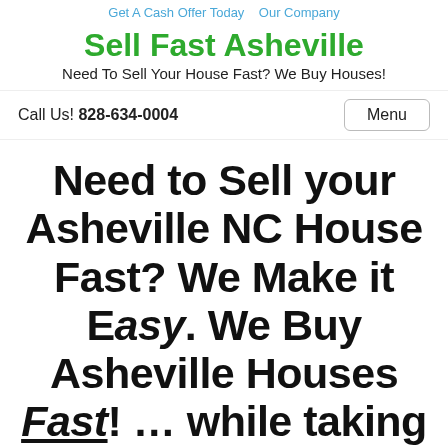Get A Cash Offer Today   Our Company
Sell Fast Asheville
Need To Sell Your House Fast? We Buy Houses!
Call Us! 828-634-0004
Menu
Need to Sell your Asheville NC House Fast? We Make it Easy. We Buy Asheville Houses Fast! ... while taking care of